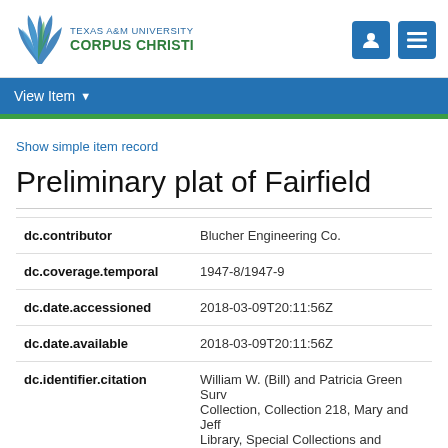Texas A&M University Corpus Christi
View Item
Show simple item record
Preliminary plat of Fairfield
| Field | Value |
| --- | --- |
| dc.contributor | Blucher Engineering Co. |
| dc.coverage.temporal | 1947-8/1947-9 |
| dc.date.accessioned | 2018-03-09T20:11:56Z |
| dc.date.available | 2018-03-09T20:11:56Z |
| dc.identifier.citation | William W. (Bill) and Patricia Green Survey Collection, Collection 218, Mary and Jeff Library, Special Collections and Archives |